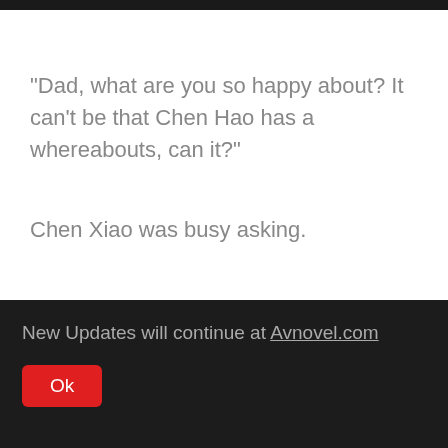"Dad, what are you so happy about? It can't be that Chen Hao has a whereabouts, can it?"
Chen Xiao was busy asking.
Chen Dongfang dejectedly shook his head, "Little Song is still unaccounted for..."
New Updates will continue at Avnovel.com
Ok